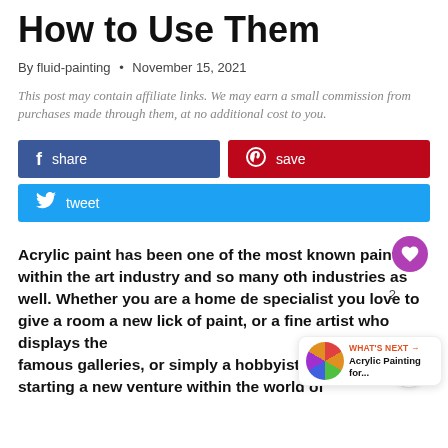How to Use Them
By fluid-painting • November 15, 2021
This post may contain affiliate links. We may earn a small commission from purchases made through them, at no additional cost to you.
[Figure (infographic): Social share buttons: Facebook share (blue), Pinterest save (red), Twitter tweet (light blue)]
Acrylic paint has been one of the most known paints within the art industry and so many oth industries as well. Whether you are a home de specialist you love to give a room a new lick of paint, or a fine artist who displays the famous galleries, or simply a hobbyist w starting a new venture within the world of